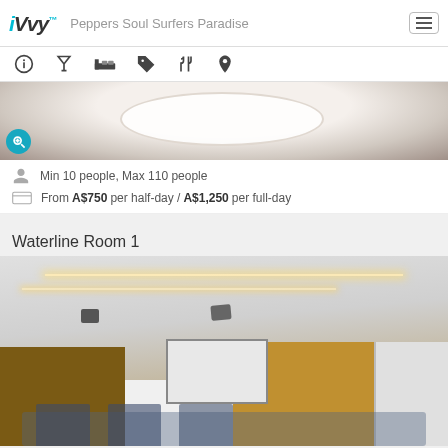iVvy — Peppers Soul Surfers Paradise
[Figure (screenshot): Navigation icon bar with info, cocktail glass, bed, tag, fork-knife, and location pin icons]
[Figure (photo): Close-up photo of a round banquet table set for an event with white tablecloth and place settings]
Min 10 people, Max 110 people
From A$750 per half-day / A$1,250 per full-day
Waterline Room 1
[Figure (photo): Conference room photo showing modern ceiling with LED strip lighting, two projectors mounted on ceiling, wood-paneled walls, whiteboard/screen on back wall, chairs and tables set for a meeting]